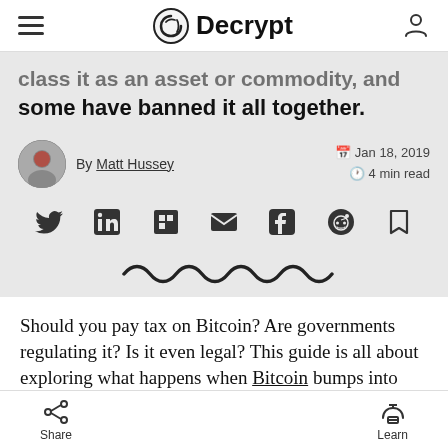Decrypt
class it as an asset or commodity, and some have banned it all together.
By Matt Hussey  |  Jan 18, 2019  |  4 min read
[Figure (infographic): Social sharing icons: Twitter, LinkedIn, Flipboard, Email, Facebook, Reddit, Bookmark]
[Figure (illustration): Decorative wavy/squiggly line divider]
Should you pay tax on Bitcoin? Are governments regulating it? Is it even legal? This guide is all about exploring what happens when Bitcoin bumps into
Share  |  Learn